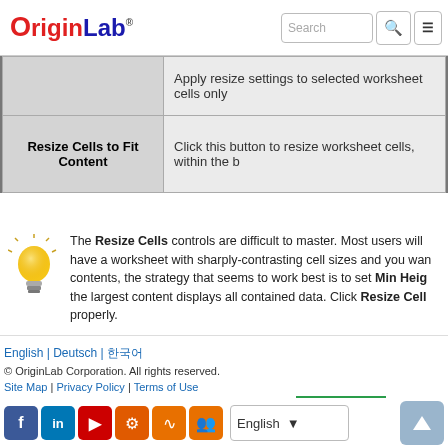OriginLab
|  | Description |
| --- | --- |
|  | Apply resize settings to selected worksheet cells only |
| Resize Cells to Fit Content | Click this button to resize worksheet cells, within the b... |
The Resize Cells controls are difficult to master. Most users will... have a worksheet with sharply-contrasting cell sizes and you want... contents, the strategy that seems to work best is to set Min Heig... the largest content displays all contained data. Click Resize Cell... properly.
English | Deutsch | 한국어 | © OriginLab Corporation. All rights reserved. | Site Map | Privacy Policy | Terms of Use | English ▾